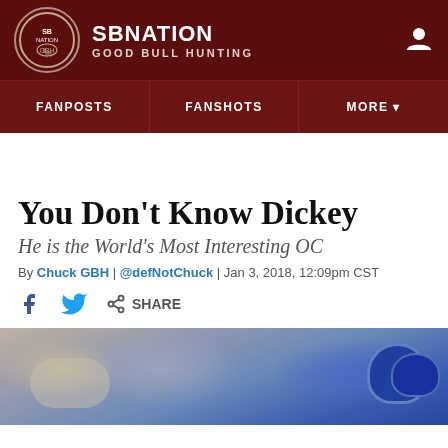SBNATION GOOD BULL HUNTING
FANPOSTS | FANSHOTS | MORE
You Don't Know Dickey
He is the World's Most Interesting OC
By Chuck GBH | @defNotChuck | Jan 3, 2018, 12:09pm CST
[Figure (photo): Crowd scene with football players in blue helmets and jerseys, blurred background with spectators]